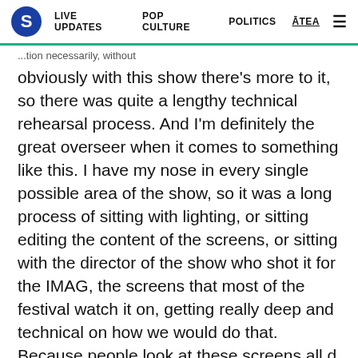S  LIVE UPDATES  POP CULTURE  POLITICS  ĀTEA  ☰
...tion necessarily, without obviously with this show there's more to it, so there was quite a lengthy technical rehearsal process. And I'm definitely the great overseer when it comes to something like this. I have my nose in every single possible area of the show, so it was a long process of sitting with lighting, or sitting editing the content of the screens, or sitting with the director of the show who shot it for the IMAG, the screens that most of the festival watch it on, getting really deep and technical on how we would do that. Because people look at these screens all day and it's about giving them something slightly different and interesting to look at. So it was definitely a big step up in terms of work but it was